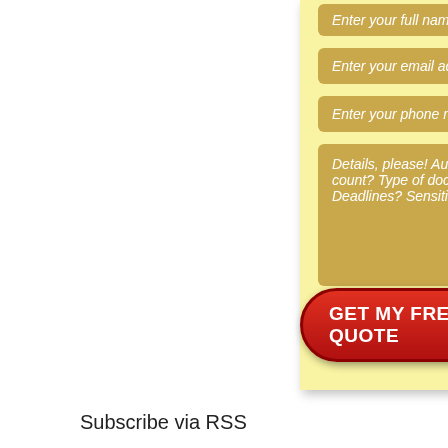[Figure (screenshot): A web form on a yellow sticky-note style card with input fields for full name, email address, phone number, and a textarea for project details. A large red 'GET MY FREE QUOTE' button with a play-icon arrow is at the bottom of the card.]
Enter your full name here...
Enter your email address here...
Enter your phone number here...
Details, please! Audience? Word count? Type of document? Tone? Deadlines? Sensitive content?
GET MY FREE QUOTE
Subscribe via RSS